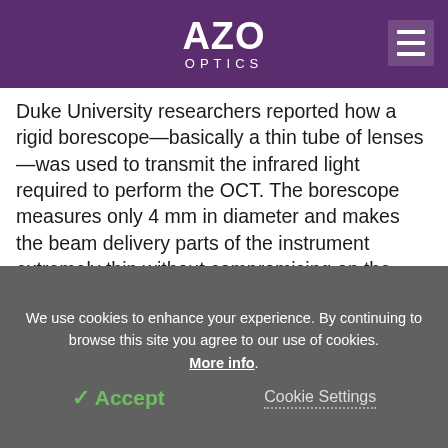AZO OPTICS
Duke University researchers reported how a rigid borescope—basically a thin tube of lenses—was used to transmit the infrared light required to perform the OCT. The borescope measures only 4 mm in diameter and makes the beam delivery parts of the instrument extremely thin without compromising on the imaging performance.
We use cookies to enhance your experience. By continuing to browse this site you agree to our use of cookies. More info. Accept Cookie Settings